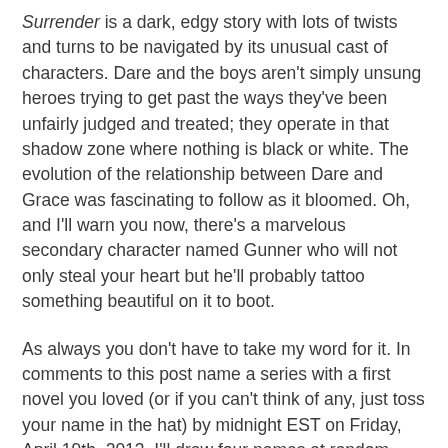Surrender is a dark, edgy story with lots of twists and turns to be navigated by its unusual cast of characters. Dare and the boys aren't simply unsung heroes trying to get past the ways they've been unfairly judged and treated; they operate in that shadow zone where nothing is black or white. The evolution of the relationship between Dare and Grace was fascinating to follow as it bloomed. Oh, and I'll warn you now, there's a marvelous secondary character named Gunner who will not only steal your heart but he'll probably tattoo something beautiful on it to boot.
As always you don't have to take my word for it. In comments to this post name a series with a first novel you loved (or if you can't think of any, just toss your name in the hat) by midnight EST on Friday, April 19th, 2013. I'll draw four names at random from everyone who participates and send the winners an unsigned copy of Surrender by Stephanie Tyler. This giveaway is open to everyone on the planet, even if you've won something here at PBW in the past.
One final note -- I'm also holding another giveaway over at